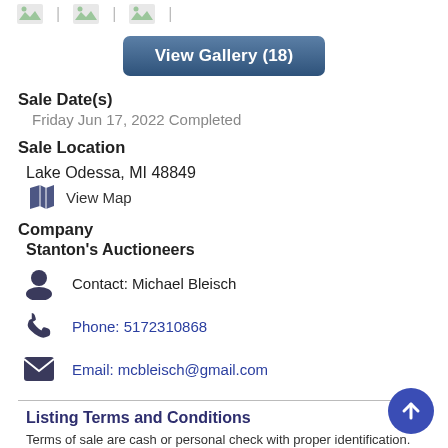[Figure (illustration): Row of thumbnail image placeholders separated by dividers at top of page]
View Gallery (18)
Sale Date(s)
Friday Jun 17, 2022 Completed
Sale Location
Lake Odessa, MI 48849
View Map
Company
Stanton's Auctioneers
Contact: Michael Bleisch
Phone: 5172310868
Email: mcbleisch@gmail.com
Listing Terms and Conditions
Terms of sale are cash or personal check with proper identification. MasterCard and Visa are accepted with a 3% handling fee. Not responsible for accidents day of sale or items after sold.